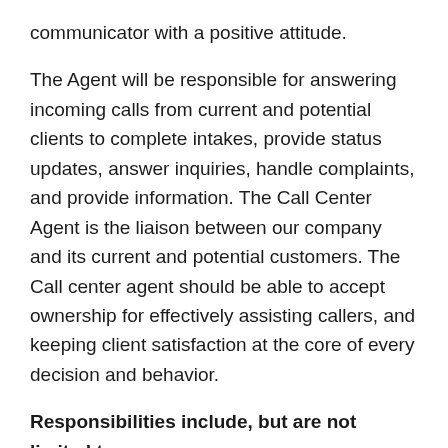communicator with a positive attitude.
The Agent will be responsible for answering incoming calls from current and potential clients to complete intakes, provide status updates, answer inquiries, handle complaints, and provide information. The Call Center Agent is the liaison between our company and its current and potential customers. The Call center agent should be able to accept ownership for effectively assisting callers, and keeping client satisfaction at the core of every decision and behavior.
Responsibilities include, but are not limited to:
Be at your desk and available to take calls at any time that you are clocked in
Answer phones promptly and courteously utilizing company procedures